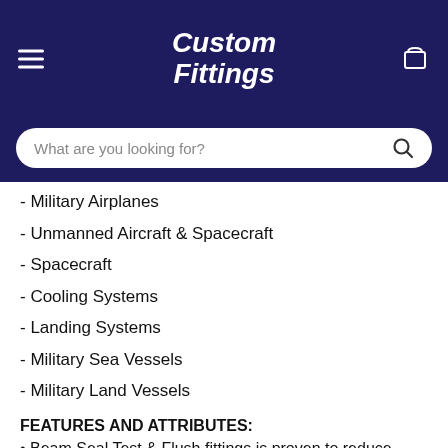Custom Fittings
- Military Airplanes
- Unmanned Aircraft & Spacecraft
- Spacecraft
- Cooling Systems
- Landing Systems
- Military Sea Vessels
- Military Land Vessels
FEATURES AND ATTRIBUTES:
• Beam Seal Test & Flush fittings is proven to reduce damage when compared to a meal to metal seal while testing
• Beam Seal Test & Flush fittings has ultimate reliability with